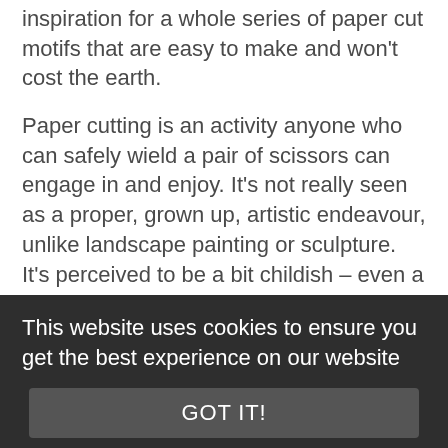inspiration for a whole series of paper cut motifs that are easy to make and won't cost the earth.
Paper cutting is an activity anyone who can safely wield a pair of scissors can engage in and enjoy. It's not really seen as a proper, grown up, artistic endeavour, unlike landscape painting or sculpture. It's perceived to be a bit childish – even a waste of time – so if you feel like making
This website uses cookies to ensure you get the best experience on our website
GOT IT!